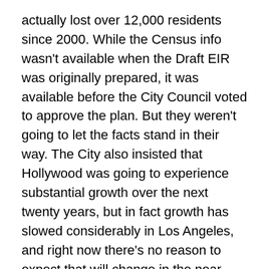actually lost over 12,000 residents since 2000. While the Census info wasn't available when the Draft EIR was originally prepared, it was available before the City Council voted to approve the plan. But they weren't going to let the facts stand in their way. The City also insisted that Hollywood was going to experience substantial growth over the next twenty years, but in fact growth has slowed considerably in Los Angeles, and right now there's no reason to expect that will change in the near future.
Community groups were alarmed at the problems with the plan, and asked the City to revise it. The City refused, and voted to adopt the HCPU in spite of strong opposition by many Hollywood residents, leading the judge to conclude,
The evidence in this record strongly supports petitioners' contention that there has been an insufficiently-